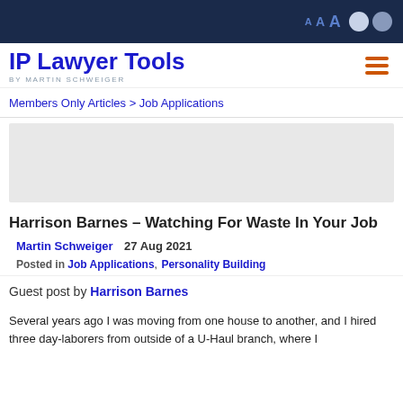A A A [font size controls] [light circle] [dark circle]
IP Lawyer Tools BY MARTIN SCHWEIGER
Members Only Articles > Job Applications
[Figure (other): Gray advertisement/banner block]
Harrison Barnes – Watching For Waste In Your Job
Martin Schweiger  27 Aug 2021
Posted in Job Applications, Personality Building
Guest post by Harrison Barnes
Several years ago I was moving from one house to another, and I hired three day-laborers from outside of a U-Haul branch, where I